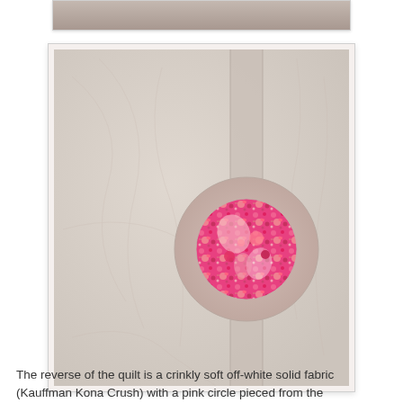[Figure (photo): Partial view of a quilt top image, cropped at top of page]
[Figure (photo): Reverse side of a quilt showing crinkly soft off-white solid fabric (Kauffman Kona Crush) with a pink circle pieced from colorful pink floral fabric, with a vertical strip running through the circle]
The reverse of the quilt is a crinkly soft off-white solid fabric (Kauffman Kona Crush) with a pink circle pieced from the